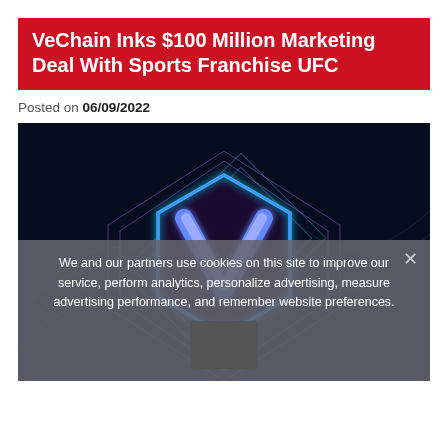VeChain Inks $100 Million Marketing Deal With Sports Franchise UFC
Posted on 06/09/2022
[Figure (photo): VeChain logo — a dark blue/purple hexagon with a glowing cyan/blue outline and a white V inside, surrounded by geometric diamond/square outlines. Dark background with subtle network wave graphics. 'Vechain' text in light blue at the bottom.]
We and our partners use cookies on this site to improve our service, perform analytics, personalize advertising, measure advertising performance, and remember website preferences.